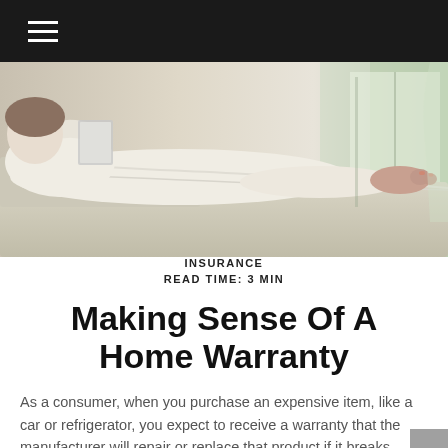[Figure (photo): Person in white clothing lying on a couch, reading, with bare feet visible and natural light in the background]
INSURANCE
READ TIME: 3 MIN
Making Sense Of A Home Warranty
As a consumer, when you purchase an expensive item, like a car or refrigerator, you expect to receive a warranty that the manufacturer will repair or replace that product if it breaks down.